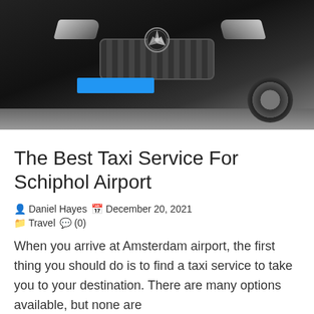[Figure (photo): A black Mercedes-Benz van/taxi photographed from the front, with a blue license plate area, silver star emblem, and headlights visible. Ground visible at bottom.]
The Best Taxi Service For Schiphol Airport
Daniel Hayes  December 20, 2021  Travel  (0)
When you arrive at Amsterdam airport, the first thing you should do is to find a taxi service to take you to your destination. There are many options available, but none are